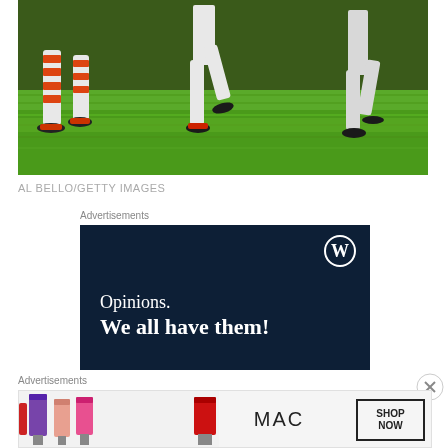[Figure (photo): Baseball players on a grass field, showing legs and cleats of players in white uniforms with orange accents, one player crouching (catcher) on the left, another running in the center, and one on the right, all on bright green grass.]
AL BELLO/GETTY IMAGES
Advertisements
[Figure (other): WordPress advertisement banner with dark navy background. WordPress logo (W in circle) in top right. Text reads 'Opinions. We all have them!' in white serif font.]
[Figure (other): Close/dismiss button (X in circle) for advertisement]
Advertisements
[Figure (other): MAC Cosmetics advertisement showing colorful lipsticks on left side, MAC logo in center, and 'SHOP NOW' box on right with red lipstick.]